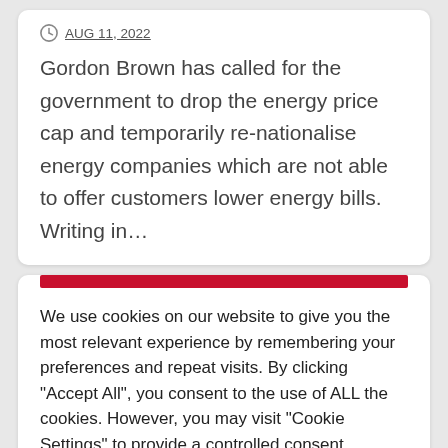AUG 11, 2022
Gordon Brown has called for the government to drop the energy price cap and temporarily re-nationalise energy companies which are not able to offer customers lower energy bills. Writing in…
We use cookies on our website to give you the most relevant experience by remembering your preferences and repeat visits. By clicking "Accept All", you consent to the use of ALL the cookies. However, you may visit "Cookie Settings" to provide a controlled consent.
Cookie Settings
Accept All